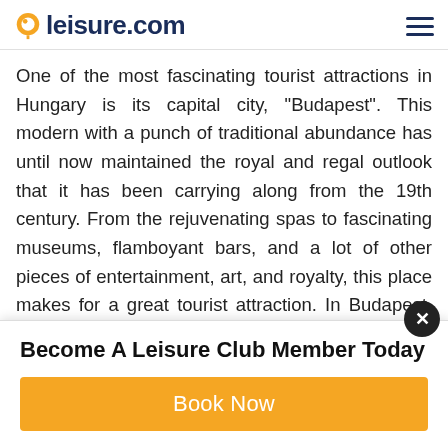leisure.com
One of the most fascinating tourist attractions in Hungary is its capital city, “Budapest”. This modern with a punch of traditional abundance has until now maintained the royal and regal outlook that it has been carrying along from the 19th century. From the rejuvenating spas to fascinating museums, flamboyant bars, and a lot of other pieces of entertainment, art, and royalty, this place makes for a great tourist attraction. In Budapest, historic Thermal baths are also very famous. When in Budapest, one can simply go for day trips to the neighboring traditional village, which is also
Become A Leisure Club Member Today
Book Now
Let Us Plan Your Trip